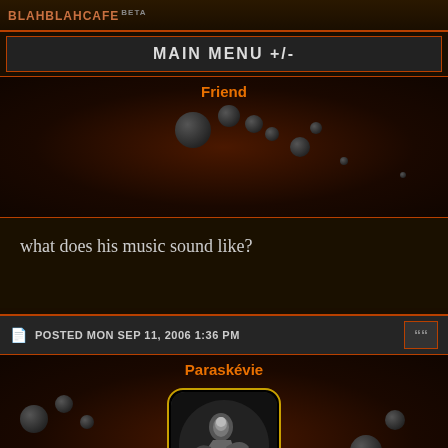BLAHBLAHCAFE beta
MAIN MENU +/-
Friend
what does his music sound like?
POSTED MON SEP 11, 2006 1:36 PM
Paraskévie
[Figure (photo): User avatar for Paraskévie showing a black and white photo of a person]
Friend wrote: